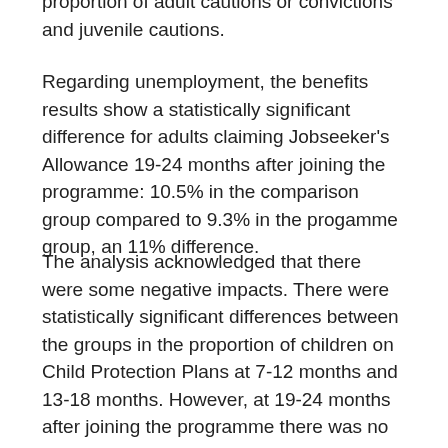proportion of adult cautions or convictions and juvenile cautions.
Regarding unemployment, the benefits results show a statistically significant difference for adults claiming Jobseeker's Allowance 19-24 months after joining the programme: 10.5% in the comparison group compared to 9.3% in the progamme group, an 11% difference.
The analysis acknowledged that there were some negative impacts. There were statistically significant differences between the groups in the proportion of children on Child Protection Plans at 7-12 months and 13-18 months. However, at 19-24 months after joining the programme there was no statistically significant difference. The evaluation offers a possible explanation for this finding being that the programme is uncovering unmet need in the early stages of intervention and preventing children becoming Looked After Children.